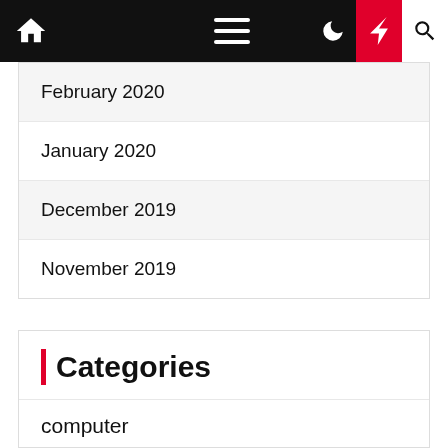[Figure (screenshot): Website navigation bar with home icon, hamburger menu, moon/dark-mode icon, red lightning bolt icon, and search icon]
February 2020
January 2020
December 2019
November 2019
Categories
computer
gadget
general
internet